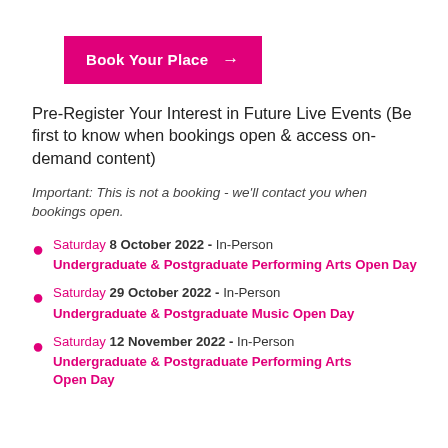[Figure (other): Pink/magenta 'Book Your Place →' button]
Pre-Register Your Interest in Future Live Events (Be first to know when bookings open & access on-demand content)
Important: This is not a booking - we'll contact you when bookings open.
Saturday 8 October 2022 - In-Person Undergraduate & Postgraduate Performing Arts Open Day
Saturday 29 October 2022 - In-Person Undergraduate & Postgraduate Music Open Day
Saturday 12 November 2022 - In-Person Undergraduate & Postgraduate Performing Arts Open Day